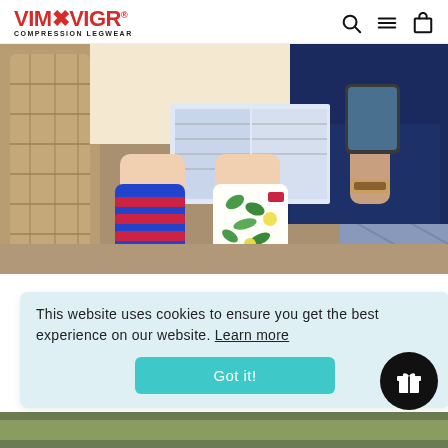VIM&VIGR COMPRESSION LEGWEAR
[Figure (photo): Two people sitting on wicker outdoor furniture wearing colorful compression socks. One leg wears blue and red striped socks, the other wears white socks with green floral/leaf pattern. One person holds a magazine and the other holds a phone, wearing a watch.]
BLOG
This website uses cookies to ensure you get the best experience on our website. Learn more
things
Got it!